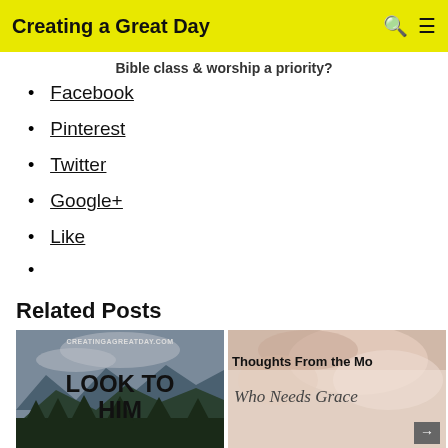Creating a Great Day
Bible class & worship a priority?
Facebook
Pinterest
Twitter
Google+
Like
Related Posts
[Figure (photo): Blog post image with mountain landscape and text 'LOOK TO HIM' from creatingagreatday.com]
[Figure (photo): Blog post image with hands holding yarn and text 'Thoughts From the Mom Who Needs Grace']